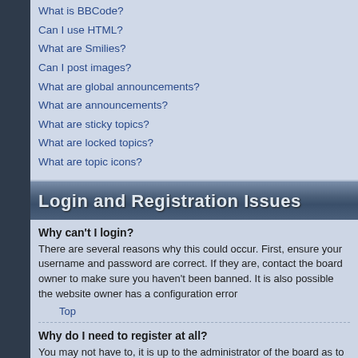What is BBCode?
Can I use HTML?
What are Smilies?
Can I post images?
What are global announcements?
What are announcements?
What are sticky topics?
What are locked topics?
What are topic icons?
Login and Registration Issues
Why can't I login?
There are several reasons why this could occur. First, ensure your username and password are correct. If they are, contact the board owner to make sure you haven't been banned. It is also possible the website owner has a configuration error
Top
Why do I need to register at all?
You may not have to, it is up to the administrator of the board as to whether you need to register in order to post messages. However, registration will give you access to additional features not available to guest users such as definable avatar images, private messaging, emailing of fellow users, usergroup subscription, etc. It only takes a few moments to register so it is recommended you do so.
Top
Why do I get logged off automatically?
If you do not check the Log me in automatically box when you login, the boa